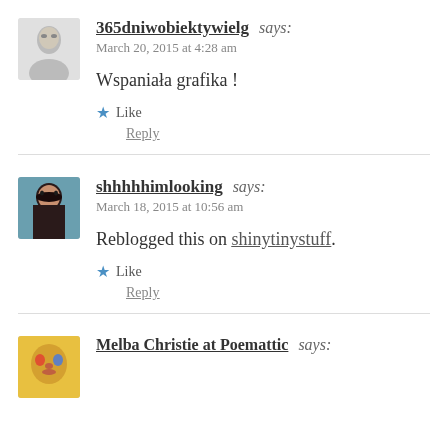365dniwobiektywielg says: March 20, 2015 at 4:28 am
Wspaniała grafika !
Like
Reply
shhhhhimlooking says: March 18, 2015 at 10:56 am
Reblogged this on shinytinystuff.
Like
Reply
Melba Christie at Poemattic says: